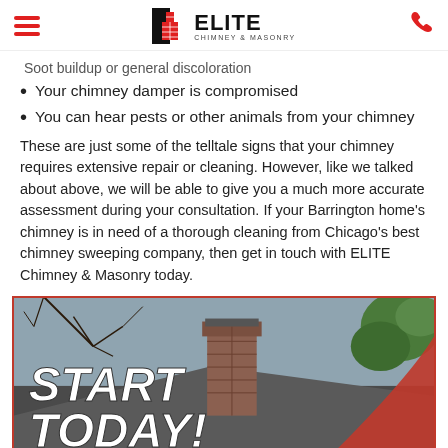Elite Chimney & Masonry — navigation header with hamburger menu and phone icon
Soot buildup or general discoloration
Your chimney damper is compromised
You can hear pests or other animals from your chimney
These are just some of the telltale signs that your chimney requires extensive repair or cleaning. However, like we talked about above, we will be able to give you a much more accurate assessment during your consultation. If your Barrington home's chimney is in need of a thorough cleaning from Chicago's best chimney sweeping company, then get in touch with ELITE Chimney & Masonry today.
[Figure (photo): Promotional banner image showing a brick chimney on a rooftop with bare tree branches against a grey sky and green foliage, overlaid with bold white italic text reading 'START TODAY!' and a red swoosh graphic element. Red border surrounds the image.]